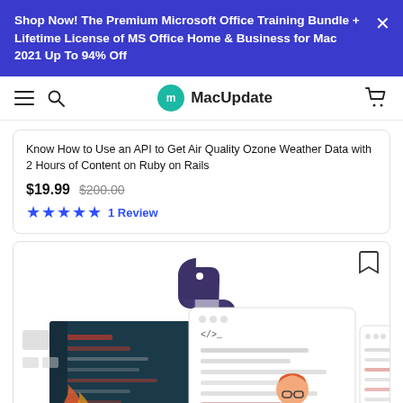Shop Now! The Premium Microsoft Office Training Bundle + Lifetime License of MS Office Home & Business for Mac 2021 Up To 94% Off
[Figure (screenshot): MacUpdate website navigation bar with hamburger menu, search icon, MacUpdate teal logo, and cart icon]
Know How to Use an API to Get Air Quality Ozone Weather Data with 2 Hours of Content on Ruby on Rails
$19.99  $200.00  ★★★★★  1 Review
[Figure (illustration): Python logo (purple snake icon) above an illustration of a developer at a computer with code editor windows]